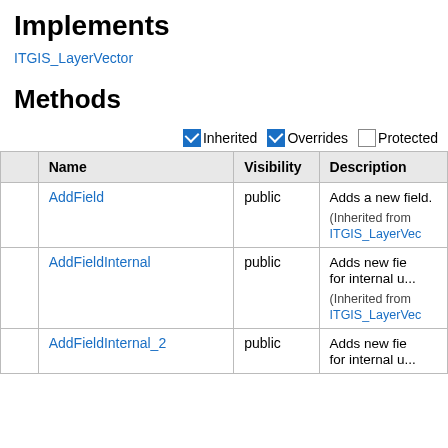Implements
ITGIS_LayerVector
Methods
|  | Name | Visibility | Description |
| --- | --- | --- | --- |
|  | AddField | public | Adds a new field.
(Inherited from
ITGIS_LayerVec... |
|  | AddFieldInternal | public | Adds new fie... for internal u...
(Inherited from
ITGIS_LayerVec... |
|  | AddFieldInternal_2 | public | Adds new fie... for internal u... |